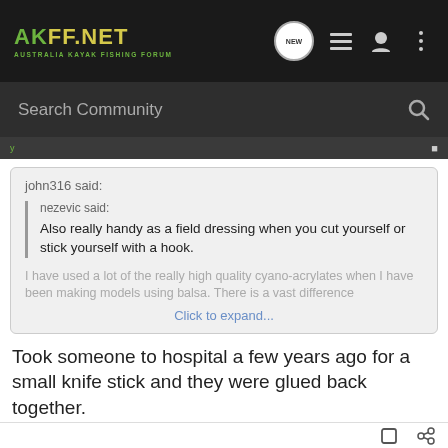AKFF.NET AUSTRALIA KAYAK FISHING FORUM
Search Community
john316 said: nezevic said: Also really handy as a field dressing when you cut yourself or stick yourself with a hook. I have used a lot of the really high quality cyano-acrylates when I have been making models using balsa. There is a vast difference Click to expand...
Took someone to hospital a few years ago for a small knife stick and they were glued back together.
[Figure (screenshot): Advertisement banner: YOUR NEW FAVORITE SPORT - EXPLORE HOW TO RESPONSIBLY PARTICIPATE IN THE SHOOTING SPORTS. START HERE!]